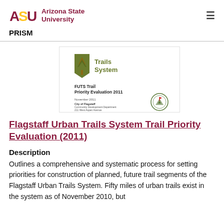Arizona State University — PRISM
[Figure (illustration): Cover thumbnail of FUTS Trail Priority Evaluation 2011 document, showing Trails System logo (green shield with tree), document title, November 2011 date, City of Flagstaff Community Development Department address, and City of Flagstaff seal.]
Flagstaff Urban Trails System Trail Priority Evaluation (2011)
Description
Outlines a comprehensive and systematic process for setting priorities for construction of planned, future trail segments of the Flagstaff Urban Trails System. Fifty miles of urban trails exist in the system as of November 2010, but